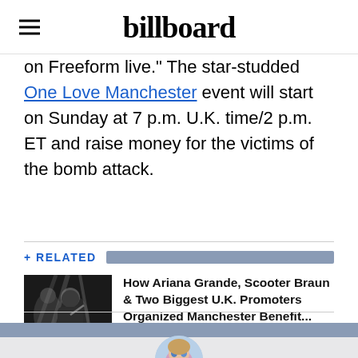billboard
on Freeform live." The star-studded One Love Manchester event will start on Sunday at 7 p.m. U.K. time/2 p.m. ET and raise money for the victims of the bomb attack.
+ RELATED
[Figure (photo): Black and white photo of Ariana Grande performing on stage]
How Ariana Grande, Scooter Braun & Two Biggest U.K. Promoters Organized Manchester Benefit...
05/30/2017
[Figure (photo): Circular avatar photo at the bottom of the page]